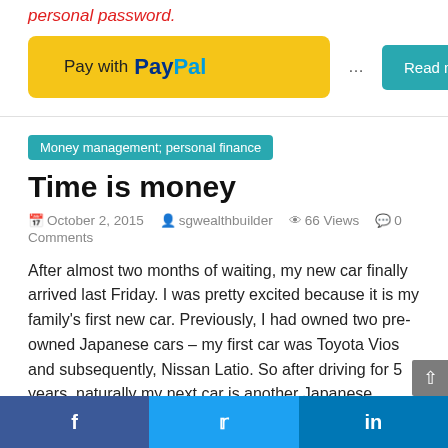personal password.
[Figure (other): PayPal payment button (yellow rounded rectangle with 'Pay with PayPal' text)]
... Read more
Money management; personal finance
Time is money
October 2, 2015  sgwealthbuilder  66 Views  0 Comments
After almost two months of waiting, my new car finally arrived last Friday. I was pretty excited because it is my family's first new car. Previously, I had owned two pre-owned Japanese cars – my first car was Toyota Vios and subsequently, Nissan Latio. So after driving for 5 years, naturally my next car is another Japanese brand, this time its